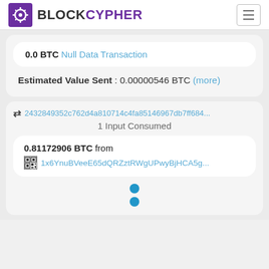BLOCKCYPHER
0.0 BTC Null Data Transaction
Estimated Value Sent : 0.00000546 BTC (more)
2432849352c762d4a810714c4fa85146967db7ff684...
1 Input Consumed
0.81172906 BTC from 1x6YnuBVeeE65dQRZztRWgUPwyBjHCA5g...